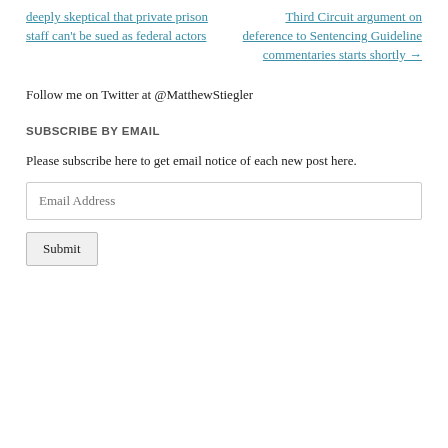deeply skeptical that private prison staff can't be sued as federal actors
Third Circuit argument on deference to Sentencing Guideline commentaries starts shortly →
Follow me on Twitter at @MatthewStiegler
SUBSCRIBE BY EMAIL
Please subscribe here to get email notice of each new post here.
Email Address
Submit